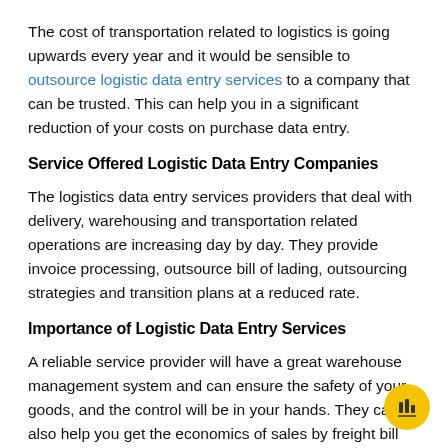The cost of transportation related to logistics is going upwards every year and it would be sensible to outsource logistic data entry services to a company that can be trusted. This can help you in a significant reduction of your costs on purchase data entry.
Service Offered Logistic Data Entry Companies
The logistics data entry services providers that deal with delivery, warehousing and transportation related operations are increasing day by day. They provide invoice processing, outsource bill of lading, outsourcing strategies and transition plans at a reduced rate.
Importance of Logistic Data Entry Services
A reliable service provider will have a great warehouse management system and can ensure the safety of your goods, and the control will be in your hands. They can also help you get the economics of sales by freight bill and bill of lading data entry services.